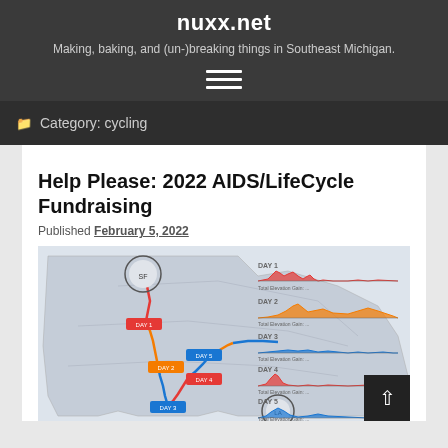nuxx.net
Making, baking, and (un-)breaking things in Southeast Michigan.
Category: cycling
Help Please: 2022 AIDS/LifeCycle Fundraising
Published February 5, 2022
[Figure (map): AIDS/LifeCycle route map showing the cycling route from San Francisco to Los Angeles over 7 days, with elevation profiles for each day shown on the right side in alternating red, orange, and blue colors.]